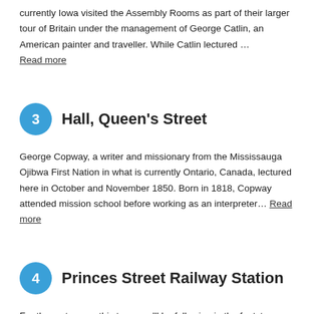currently Iowa visited the Assembly Rooms as part of their larger tour of Britain under the management of George Catlin, an American painter and traveller. While Catlin lectured … Read more
3  Hall, Queen's Street
George Copway, a writer and missionary from the Mississauga Ojibwa First Nation in what is currently Ontario, Canada, lectured here in October and November 1850. Born in 1818, Copway attended mission school before working as an interpreter… Read more
4  Princes Street Railway Station
For three stops on this tour, you'll be following in the footsteps